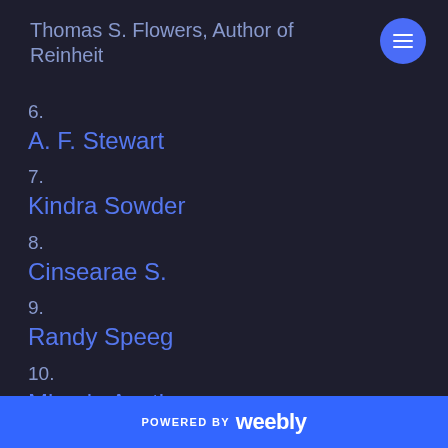Thomas S. Flowers, Author of Reinheit
6. A. F. Stewart
7. Kindra Sowder
8. Cinsearae S.
9. Randy Speeg
10. Miracle Austin
11.
POWERED BY weebly